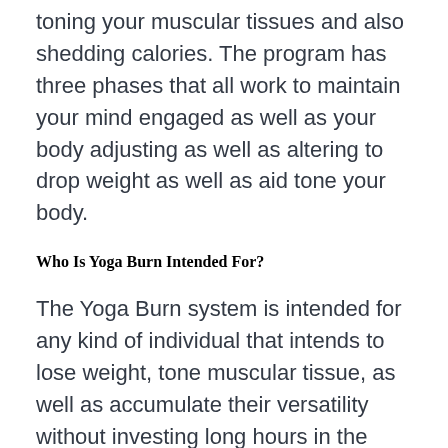toning your muscular tissues and also shedding calories. The program has three phases that all work to maintain your mind engaged as well as your body adjusting as well as altering to drop weight as well as aid tone your body.
Who Is Yoga Burn Intended For?
The Yoga Burn system is intended for any kind of individual that intends to lose weight, tone muscular tissue, as well as accumulate their versatility without investing long hours in the gym as well as requiring to make use of exercise equipment or weights. Yoga Burn is planned to rejuvenate your home exercises and can conveniently match your everyday timetable, so you don't require to adhere to any type of stringent